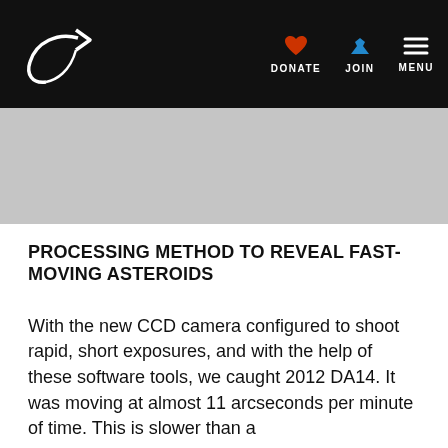Planetary Society navigation bar with logo, DONATE, JOIN, MENU
[Figure (other): Gray banner/hero image area]
PROCESSING METHOD TO REVEAL FAST-MOVING ASTEROIDS
With the new CCD camera configured to shoot rapid, short exposures, and with the help of these software tools, we caught 2012 DA14. It was moving at almost 11 arcseconds per minute of time. This is slower than a